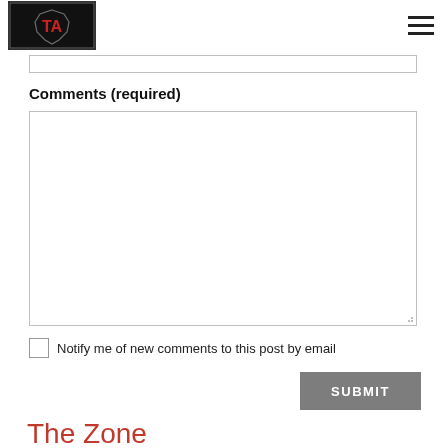Texas Alley — navigation logo and hamburger menu
Comments (required)
Notify me of new comments to this post by email
SUBMIT
The Zone